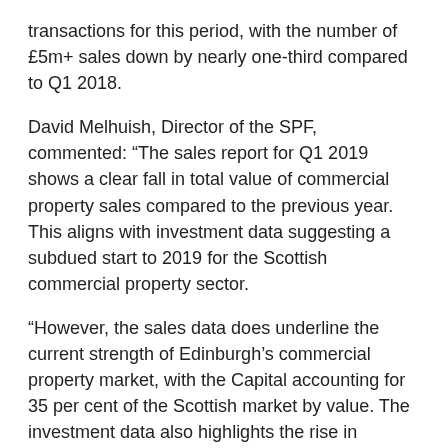transactions for this period, with the number of £5m+ sales down by nearly one-third compared to Q1 2018.
David Melhuish, Director of the SPF, commented: “The sales report for Q1 2019 shows a clear fall in total value of commercial property sales compared to the previous year. This aligns with investment data suggesting a subdued start to 2019 for the Scottish commercial property sector.
“However, the sales data does underline the current strength of Edinburgh’s commercial property market, with the Capital accounting for 35 per cent of the Scottish market by value. The investment data also highlights the rise in investor appetite for alternative property asset classes, such as hotels and build-to-rent.
“For investors, Edinburgh remains a hotspot, while more broadly, low growth and lack of certainty in the economy is weighing down on activity.”